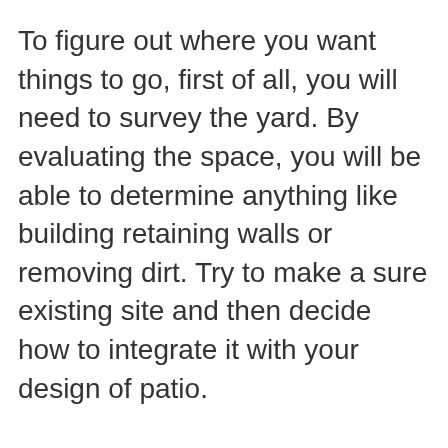To figure out where you want things to go, first of all, you will need to survey the yard. By evaluating the space, you will be able to determine anything like building retaining walls or removing dirt. Try to make a sure existing site and then decide how to integrate it with your design of patio.